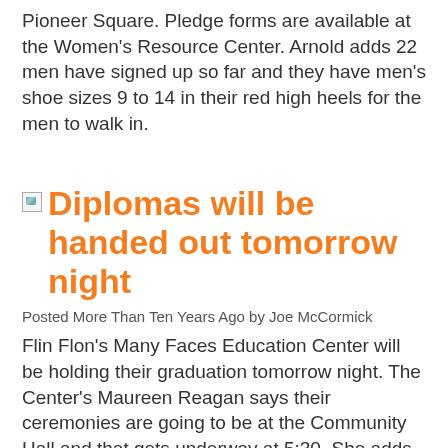Pioneer Square. Pledge forms are available at the Women's Resource Center. Arnold adds 22 men have signed up so far and they have men's shoe sizes 9 to 14 in their red high heels for the men to walk in.
Diplomas will be handed out tomorrow night
Posted More Than Ten Years Ago by Joe McCormick
Flin Flon's Many Faces Education Center will be holding their graduation tomorrow night. The Center's Maureen Reagan says their ceremonies are going to be at the Community Hall and that gets underway at 5:30. She adds their convocation ceremony will be at 7:30 and following that they always have their Burkee's party at nine o'clock.
P...